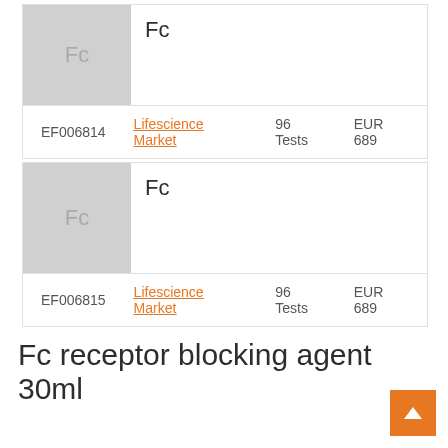| ID | Vendor | Quantity | Price |
| --- | --- | --- | --- |
| EF006814 | Lifescience Market | 96 Tests | EUR 689 |
| ID | Vendor | Quantity | Price |
| --- | --- | --- | --- |
| EF006815 | Lifescience Market | 96 Tests | EUR 689 |
Fc receptor blocking agent 30ml